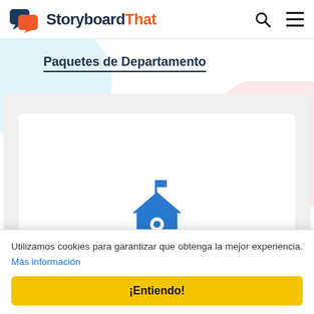StoryboardThat
Paquetes de Departamento
[Figure (screenshot): StoryboardThat website page showing Paquetes de Departamento section with a school building icon on a light grey card background, with decorative light blue and pink blobs]
Utilizamos cookies para garantizar que obtenga la mejor experiencia. Más información
¡Entiendo!